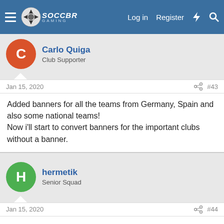Soccer Gaming — Log in  Register
Carlo Quiga
Club Supporter
Jan 15, 2020  #43
Added banners for all the teams from Germany, Spain and also some national teams!
Now i'll start to convert banners for the important clubs without a banner.
hermetik
Senior Squad
Jan 15, 2020  #44
Ok, if you need any, please comment.
Carlo Quiga